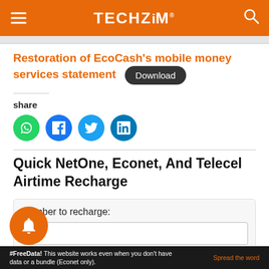TECHZiM
Restoration of EcoCash’s mobile money services statement
share
[Figure (other): Social share icons: WhatsApp (green), Facebook (blue), Twitter (light blue), LinkedIn (dark blue)]
Quick NetOne, Econet, And Telecel Airtime Recharge
Number to recharge:
#FreeData! This website works even when you don’t have data or a bundle (Econet only).    Spread the word